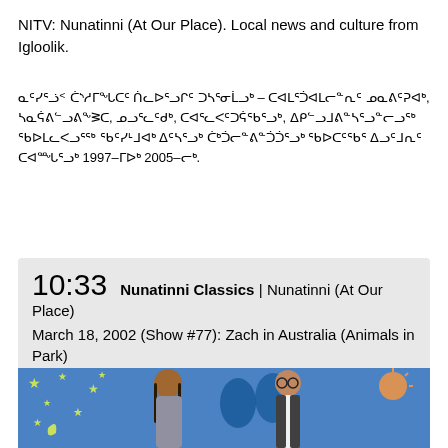NITV: Nunatinni (At Our Place). Local news and culture from Igloolik.
ᓇᑦᓯᕐᓘᑉ ᑖᔅᓱᒥᖓᑕᑦ ᑏᓚᐅᕐᓗᒋᑦ ᑐᓴᕐᓂᒫᓗᒃ – ᑕᐊᒪᕐᑑᐊᒪᓕᓐᕆᑦ ᓄᓇᕕᑦᕈᐊᒃ, ᓴᓇᕌᕕᓪᓗᕕᖕᕒᑕ, ᓄᓗᕐᓚᑦᑯᒃ, ᑕᐊᕐᓚᐸᑦᑐᕌᖃᕐᓗᒃ, ᐃᑭᓪᓗᒧᕕᓐᓴᕐᓗᓐᓕᓗᖅ ᖃᐅᒪᓚᐸᓗᕐᖅ ᖃᑦᓯᒻᒧᐊᒃ ᐃᑦᓴᕐᓗᒃ ᑖᒃᑑᓕᓐᕕᓐᑑᑑᕐᓗᒃ ᖃᐅᑕᑦᖃᕐ ᐃᓗᑦᒧᕆᑦ ᑕᐊᙵᕐᓗᒃ 1997–ᒥᐅᒃ 2005–ᓕᒃ.
10:33 Nunatinni Classics | Nunatinni (At Our Place) March 18, 2002 (Show #77): Zach in Australia (Animals in Park)
[Figure (photo): Two men talking facing each other on a TV studio set with a colourful background featuring stars, moons, handprints, and a sun painted in blue and yellow. Left man has long hair and beard wearing a grey jacket; right man wearing glasses and a dark vest over white shirt.]